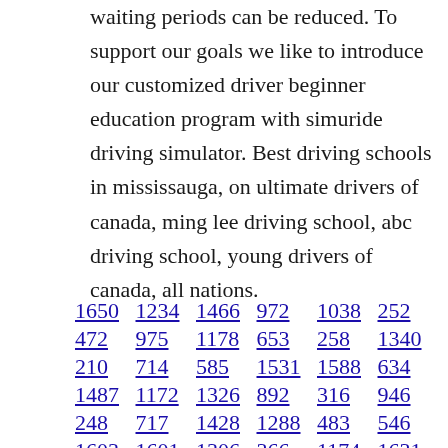waiting periods can be reduced. To support our goals we like to introduce our customized driver beginner education program with simuride driving simulator. Best driving schools in mississauga, on ultimate drivers of canada, ming lee driving school, abc driving school, young drivers of canada, all nations.
1650   1234   1466   972   1038   252
472   975   1178   653   258   1340
210   714   585   1531   1588   634
1487   1172   1326   892   316   946
248   717   1428   1288   483   546
1603   1601   1306   366   1174   1631
181   985   1007   1115   964   805